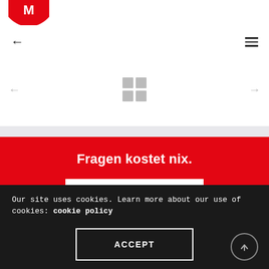[Figure (logo): Partial circular logo visible at top-left, cropped]
← (back arrow)   ≡ (hamburger menu)
[Figure (infographic): Carousel navigation with left/right arrows and 2x2 grid icon in center]
Fragen kostet nix.
E-Mail an Malte
Our site uses cookies. Learn more about our use of cookies: cookie policy
ACCEPT